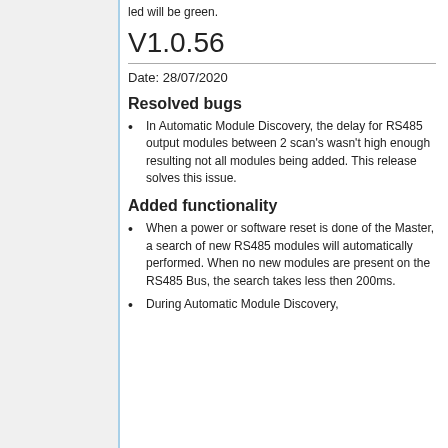led will be green.
V1.0.56
Date: 28/07/2020
Resolved bugs
In Automatic Module Discovery, the delay for RS485 output modules between 2 scan's wasn't high enough resulting not all modules being added. This release solves this issue.
Added functionality
When a power or software reset is done of the Master, a search of new RS485 modules will automatically performed. When no new modules are present on the RS485 Bus, the search takes less then 200ms.
During Automatic Module Discovery,